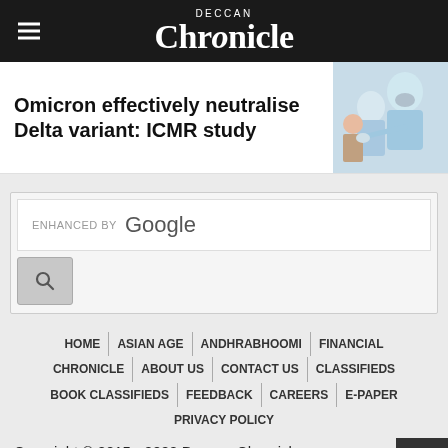Deccan Chronicle
Omicron effectively neutralise Delta variant: ICMR study
[Figure (photo): Medical workers in PPE attending to a patient]
[Figure (screenshot): Google search bar enhanced by Google with search button]
HOME | ASIAN AGE | ANDHRABHOOMI | FINANCIAL CHRONICLE | ABOUT US | CONTACT US | CLASSIFIEDS | BOOK CLASSIFIEDS | FEEDBACK | CAREERS | E-PAPER | PRIVACY POLICY
Copyright © 2015 - 2022 Deccan Chronicle. Designed, Developed & Maintained By Daksha
-->